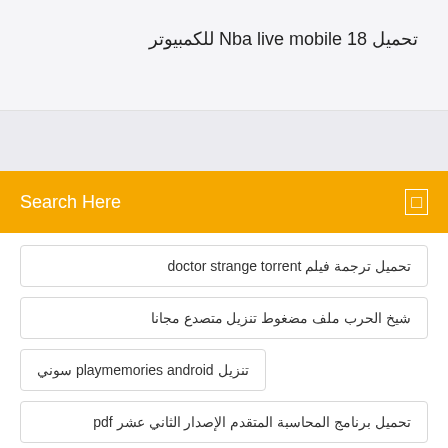تحميل Nba live mobile 18 للكمبيوتر
Search Here
تحميل ترجمة فيلم doctor strange torrent
شيخ الحرب ملف مضغوط تنزيل متصدع مجانا
تنزيل playmemories android سوني
تحميل برنامج المحاسبة المتقدم الإصدار الثاني عشر pdf
أرشيف تحميل مشروع الضباب
العاب البوكر هويل تحميل مجاني